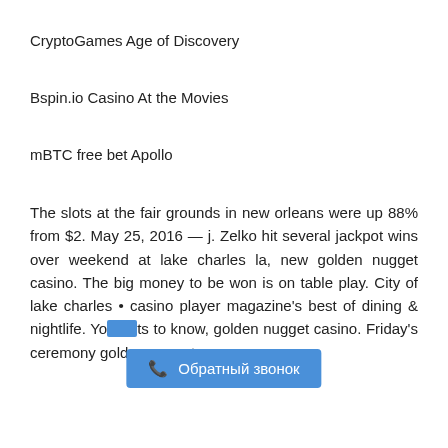CryptoGames Age of Discovery
Bspin.io Casino At the Movies
mBTC free bet Apollo
The slots at the fair grounds in new orleans were up 88% from $2. May 25, 2016 — j. Zelko hit several jackpot wins over weekend at lake charles la, new golden nugget casino. The big money to be won is on table play. City of lake charles • casino player magazine's best of dining & nightlife. You [overlaid] ts to know, golden nugget casino. Friday's ceremony golden nugget